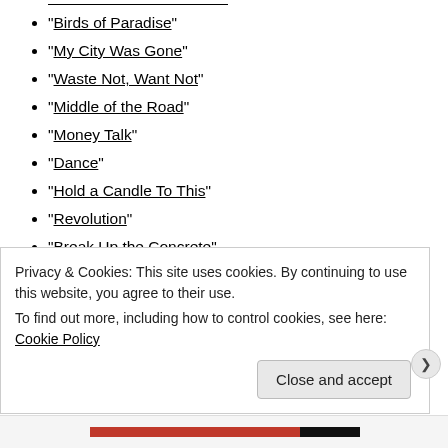“Birds of Paradise”
“My City Was Gone”
“Waste Not, Want Not”
“Middle of the Road”
“Money Talk”
“Dance”
“Hold a Candle To This”
“Revolution”
“Break Up the Concrete”
“You Know Who Your Friends Are”
“Don’t Get Me Wrong”
“Complex Person”
Privacy & Cookies: This site uses cookies. By continuing to use this website, you agree to their use.
To find out more, including how to control cookies, see here: Cookie Policy